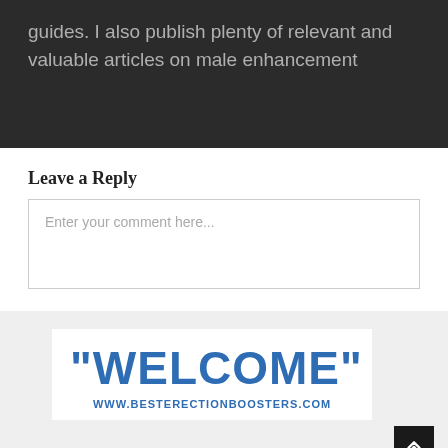guides. I also publish plenty of relevant and valuable articles on male enhancement
Leave a Reply
Enter your comment here...
[Figure (other): Welcome banner image with text '"WELCOME"' and URL www.besterectionboosters.com in bold blue text on white background]